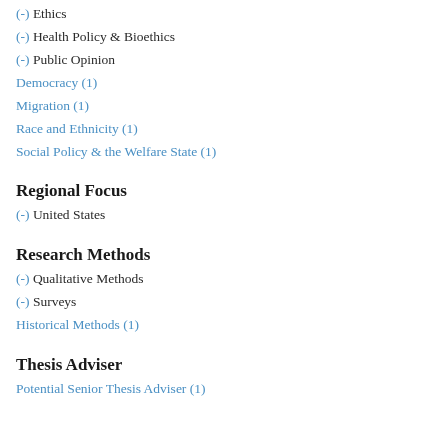(-) Ethics
(-) Health Policy & Bioethics
(-) Public Opinion
Democracy (1)
Migration (1)
Race and Ethnicity (1)
Social Policy & the Welfare State (1)
Regional Focus
(-) United States
Research Methods
(-) Qualitative Methods
(-) Surveys
Historical Methods (1)
Thesis Adviser
Potential Senior Thesis Adviser (1)